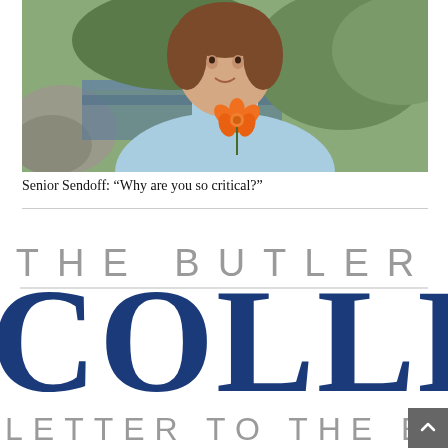[Figure (photo): Photo of a young woman with short brown hair wearing a light blue top and holding an orange flower, with rocks and greenery in the background.]
Senior Sendoff: “Why are you so critical?”
[Figure (logo): The Butler Collegian newspaper logo - large text reading 'THE BUTLER' in spaced grey letters above 'COLLEGIAN' in very large dark blue serif letters, partially cropped.]
LETTER TO THE EDITOR